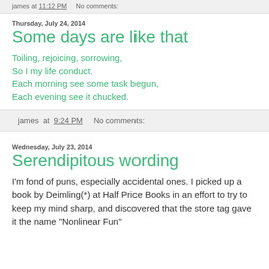james at 11:12 PM   No comments:
Thursday, July 24, 2014
Some days are like that
Toiling, rejoicing, sorrowing,
So I my life conduct.
Each morning see some task begun,
Each evening see it chucked.
james at 9:24 PM   No comments:
Wednesday, July 23, 2014
Serendipitous wording
I'm fond of puns, especially accidental ones. I picked up a book by Deimling(*) at Half Price Books in an effort to try to keep my mind sharp, and discovered that the store tag gave it the name "Nonlinear Fun"